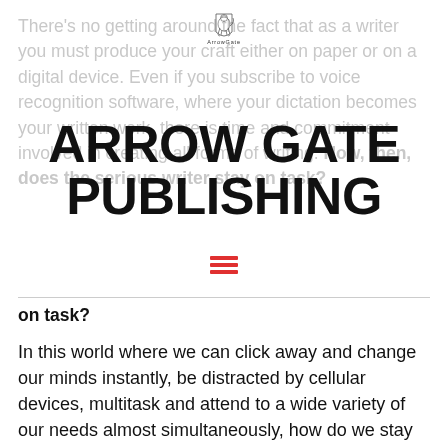[Figure (logo): Arrow Gate Publishing logo — a heraldic lion on a shield above the text 'ArrowGate']
ARROW GATE PUBLISHING
There’s no getting around the fact that as a writer you must produce your craft either on paper or on a digital device. Even if you subscribe to voice recognition software, where your dictation becomes your written work, there is time and commitment involved in creating all forms of writing. How, then, does the serious writer stay on task?
In this world where we can click away and change our minds instantly, be distracted by cellular devices, multitask and attend to a wide variety of our needs almost simultaneously, how do we stay on the path of quality writing and be proud of our accomplishments, our creations, and inspire others through our words?